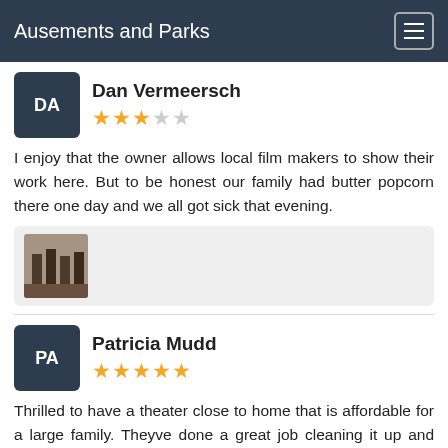Ausements and Parks
Dan Vermeersch — 3/5 stars
I enjoy that the owner allows local film makers to show their work here. But to be honest our family had butter popcorn there one day and we all got sick that evening.
[Figure (photo): Small thumbnail photo of interior, shown in a light gray strip]
Patricia Mudd — 5/5 stars
Thrilled to have a theater close to home that is affordable for a large family. Theyve done a great job cleaning it up and making it a nice family experience!!